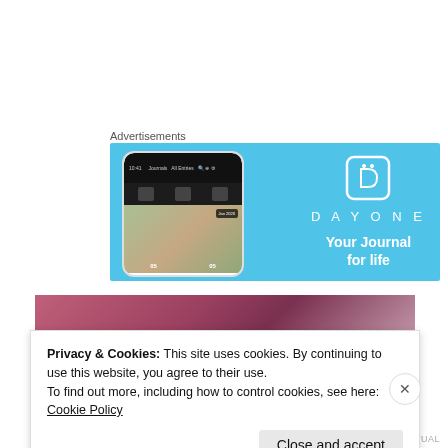Advertisements
[Figure (screenshot): Day One app advertisement banner with light blue background showing a smartphone screenshot of the app interface on the left, and the Day One logo with text 'DAYONE' and tagline 'Your Journal for life' on the right.]
[Figure (photo): Partial photo of rooftops with bare tree branches against a pinkish-red sky, with overlaid italic text 'See what you are missing?']
Privacy & Cookies: This site uses cookies. By continuing to use this website, you agree to their use.
To find out more, including how to control cookies, see here:
Cookie Policy
Close and accept